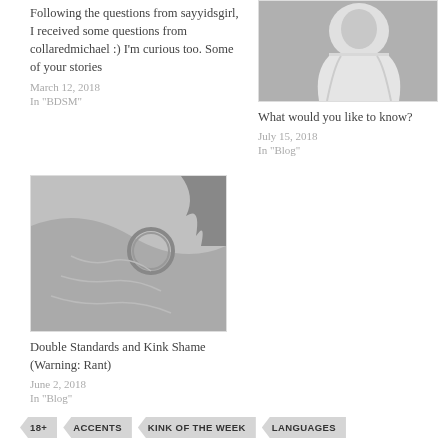Following the questions from sayyidsgirl, I received some questions from collaredmichael :) I'm curious too. Some of your stories
March 12, 2018
In "BDSM"
[Figure (photo): Black and white photo of a person in white clothing]
What would you like to know?
July 15, 2018
In "Blog"
[Figure (photo): Black and white photo of a person wearing a collar/ring necklace]
Double Standards and Kink Shame (Warning: Rant)
June 2, 2018
In "Blog"
18+
ACCENTS
KINK OF THE WEEK
LANGUAGES